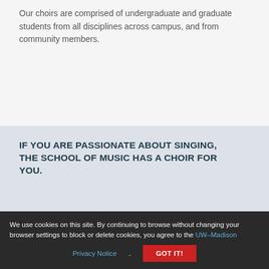Our choirs are comprised of undergraduate and graduate students from all disciplines across campus, and from community members.
IF YOU ARE PASSIONATE ABOUT SINGING, THE SCHOOL OF MUSIC HAS A CHOIR FOR YOU.
We use cookies on this site. By continuing to browse without changing your browser settings to block or delete cookies, you agree to the UW–Madison Privacy Notice.